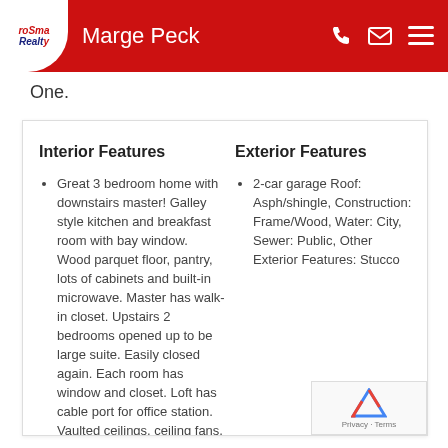Marge Peck
One.
Interior Features
Great 3 bedroom home with downstairs master! Galley style kitchen and breakfast room with bay window. Wood parquet floor, pantry, lots of cabinets and built-in microwave. Master has walk-in closet. Upstairs 2 bedrooms opened up to be large suite. Easily closed again. Each room has window and closet. Loft has cable port for office station. Vaulted ceilings, ceiling fans, Air
Exterior Features
2-car garage Roof: Asph/shingle, Construction: Frame/Wood, Water: City, Sewer: Public, Other Exterior Features: Stucco